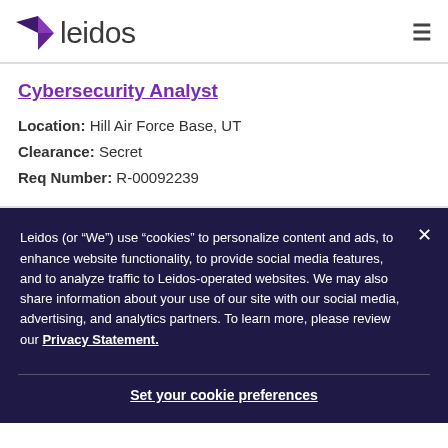[Figure (logo): Leidos company logo with purple triangle arrow and 'leidos' text in dark gray]
Cybersecurity Analyst
Location: Hill Air Force Base, UT
Clearance: Secret
Req Number: R-00092239
Leidos (or “We”) use “cookies” to personalize content and ads, to enhance website functionality, to provide social media features, and to analyze traffic to Leidos-operated websites. We may also share information about your use of our site with our social media, advertising, and analytics partners. To learn more, please review our Privacy Statement.
Set your cookie preferences